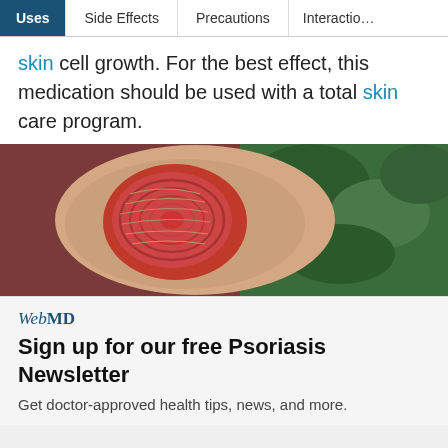Uses | Side Effects | Precautions | Interactions
skin cell growth. For the best effect, this medication should be used with a total skin care program.
[Figure (photo): Close-up photo of a psoriasis lesion on a person's elbow, showing red, scaly, circular patch of inflamed skin against a background of green foliage.]
WebMD
Sign up for our free Psoriasis Newsletter
Get doctor-approved health tips, news, and more.